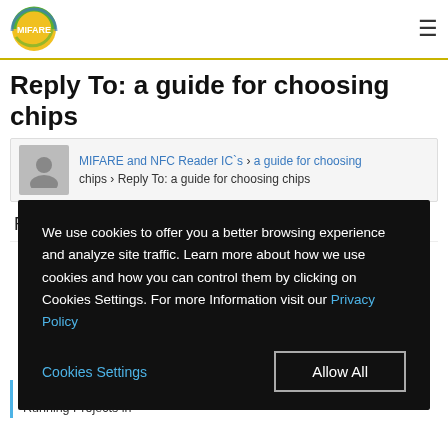MIFARE (logo) — hamburger menu
Reply To: a guide for choosing chips
MIFARE and NFC Reader IC`s › a guide for choosing chips › Reply To: a guide for choosing chips
Re: a guide for choosing chips
We use cookies to offer you a better browsing experience and analyze site traffic. Learn more about how we use cookies and how you can control them by clicking on Cookies Settings. For more Information visit our Privacy Policy
Cookies Settings  Allow All
For now, you can read through it, and I will try to aquire some data of Running Projects in